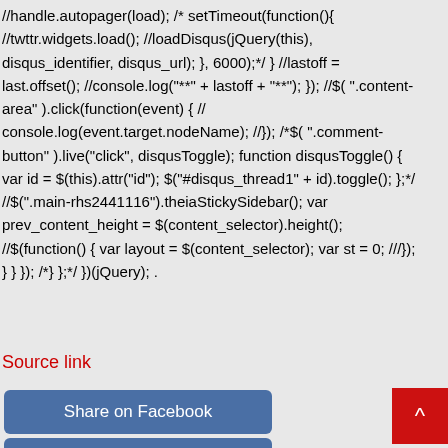//handle.autopager(load); /* setTimeout(function(){ //twttr.widgets.load(); //loadDisqus(jQuery(this), disqus_identifier, disqus_url); }, 6000);*/ } //lastoff = last.offset(); //console.log("**" + lastoff + "**"); }); //$(  ".content-area" ).click(function(event) { // console.log(event.target.nodeName); //}); /*$( ".comment-button" ).live("click", disqusToggle); function disqusToggle() { var id = $(this).attr("id"); $("#disqus_thread1" + id).toggle(); };*/ //$("main-rhs2441116").theiaStickySidebar(); var prev_content_height = $(content_selector).height(); //$(function() { var layout = $(content_selector); var st = 0; ///}); } } }); /*} };*/ })(jQuery); .
Source link
Share on Facebook